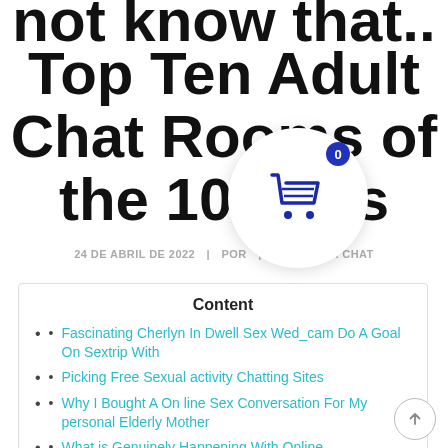not know that.. Top Ten Adult Chat Rooms of the 10 rs
24 DE ABRIL DE 2022 | POR | ADULT SEX CHAT
Content
Fascinating Cherlyn In Dwell Sex Wed_cam Do A Goal On Sextrip With
Picking Free Sexual activity Chatting Sites
Why I Bought A On line Sex Conversation For My personal Elderly Mother
What is Genuinely Happening With Online...
[Figure (other): Shopping cart icon in a white circular button with a blue badge showing 0]